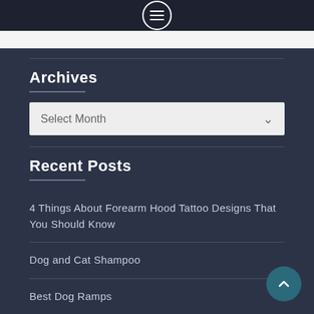[Figure (screenshot): Dark navigation bar with a circular menu (list) icon in the center on a near-black background]
Archives
[Figure (screenshot): Dropdown select box labeled 'Select Month' with a chevron arrow]
Recent Posts
4 Things About Forearm Hood Tattoo Designs That You Should Know
Dog and Cat Shampoo
Best Dog Ramps